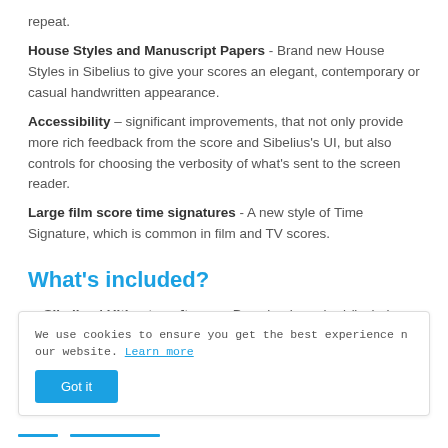repeat.
House Styles and Manuscript Papers - Brand new House Styles in Sibelius to give your scores an elegant, contemporary or casual handwritten appearance.
Accessibility – significant improvements, that not only provide more rich feedback from the score and Sibelius's UI, but also controls for choosing the verbosity of what's sent to the screen reader.
Large film score time signatures - A new style of Time Signature, which is common in film and TV scores.
What's included?
Sibelius | Ultimate software—Download required (includes
We use cookies to ensure you get the best experience n our website. Learn more
Got it